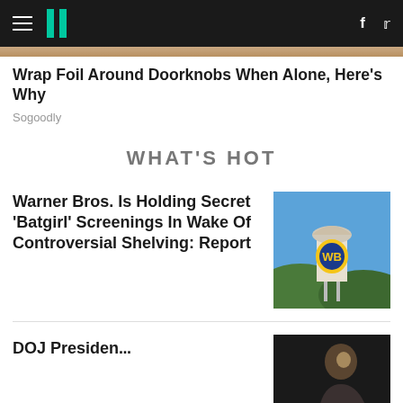HuffPost navigation bar with logo, hamburger menu, Facebook and Twitter icons
[Figure (photo): Partial top of an article image (cropped, beige/tan tones)]
Wrap Foil Around Doorknobs When Alone, Here's Why
Sogoodly
WHAT'S HOT
Warner Bros. Is Holding Secret 'Batgirl' Screenings In Wake Of Controversial Shelving: Report
[Figure (photo): Warner Bros. water tower with yellow and blue WB shield logo against a blue sky with hills in background]
DOJ Presiden...